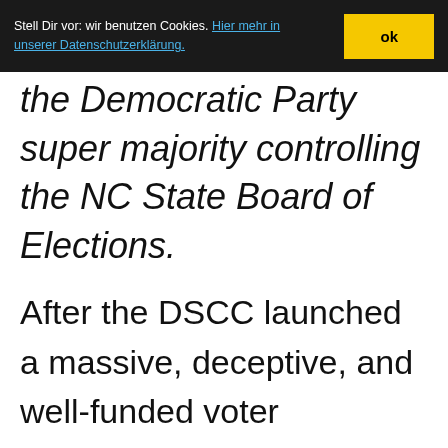Stell Dir vor: wir benutzen Cookies. Hier mehr in unserer Datenschutzerklärung. ok
the Democratic Party super majority controlling the NC State Board of Elections.
After the DSCC launched a massive, deceptive, and well-funded voter intimidation campaign attempting to harass petition signers into requesting their names be removed, the State Board of Elections voted to deny